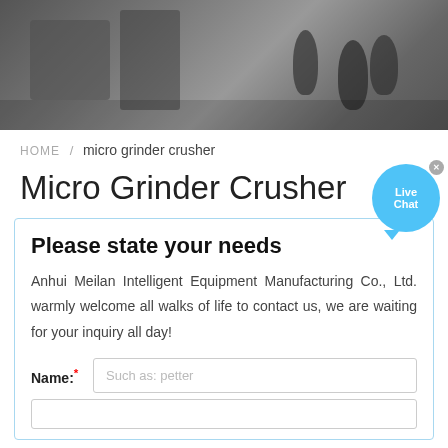[Figure (photo): Hero banner photo showing industrial/manufacturing environment with equipment and microphones in the background]
HOME / micro grinder crusher
Micro Grinder Crusher
Please state your needs
Anhui Meilan Intelligent Equipment Manufacturing Co., Ltd. warmly welcome all walks of life to contact us, we are waiting for your inquiry all day!
Name:* Such as: petter